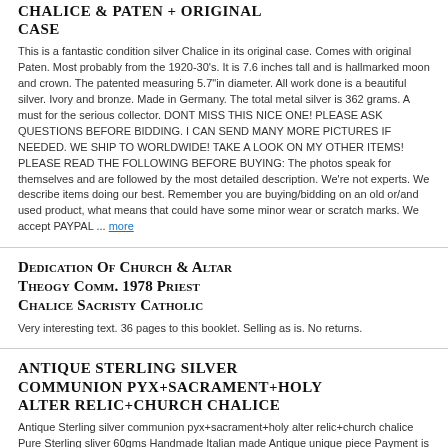Chalice & Paten + Original Case
This is a fantastic condition silver Chalice in its original case. Comes with original Paten. Most probably from the 1920-30's. It is 7.6 inches tall and is hallmarked moon and crown. The patented measuring 5.7"in diameter. All work done is a beautiful silver. Ivory and bronze. Made in Germany. The total metal silver is 362 grams. A must for the serious collector. DONT MISS THIS NICE ONE! PLEASE ASK QUESTIONS BEFORE BIDDING. I CAN SEND MANY MORE PICTURES IF NEEDED. WE SHIP TO WORLDWIDE! TAKE A LOOK ON MY OTHER ITEMS! PLEASE READ THE FOLLOWING BEFORE BUYING: The photos speak for themselves and are followed by the most detailed description. We're not experts. We describe items doing our best. Remember you are buying/bidding on an old or/and used product, what means that could have some minor wear or scratch marks. We accept PAYPAL ... more
Dedication Of Church & Altar Theogy Comm. 1978 Priest Chalice Sacristy Catholic
Very interesting text. 36 pages to this booklet. Selling as is. No returns.
Antique Sterling silver communion pyx+sacrament+holy alter relic+church chalice
Antique Sterling silver communion pyx+sacrament+holy alter relic+church chalice Pure Sterling sliver 60gms Handmade Italian made Antique unique piece Payment is accepted by Paypal. Paypal is the …